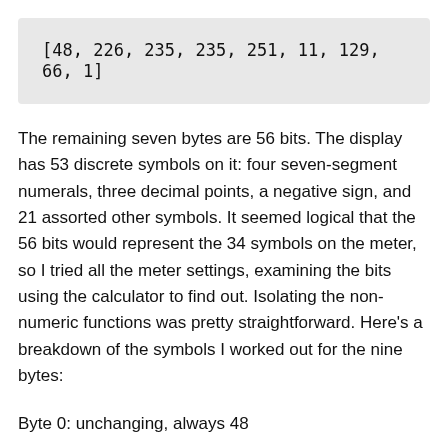[48, 226, 235, 235, 251, 11, 129, 66, 1]
The remaining seven bytes are 56 bits. The display has 53 discrete symbols on it: four seven-segment numerals, three decimal points, a negative sign, and 21 assorted other symbols. It seemed logical that the 56 bits would represent the 34 symbols on the meter, so I tried all the meter settings, examining the bits using the calculator to find out. Isolating the non-numeric functions was pretty straightforward. Here's a breakdown of the symbols I worked out for the nine bytes:
Byte 0: unchanging, always 48
Byte 1: